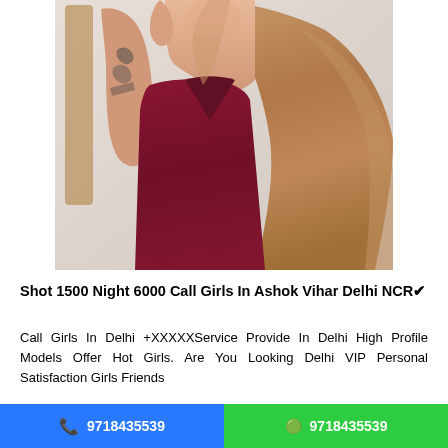[Figure (photo): A young woman with long reddish-blonde hair wearing a deep red/maroon dress, taking a mirror selfie. She has tattoos visible on her arm.]
Shot 1500 Night 6000 Call Girls In Ashok Vihar Delhi NCR✔
Call Girls In Delhi +XXXXXService Provide In Delhi High Profile Models Offer Hot Girls. Are You Looking Delhi VIP Personal Satisfaction Girls Friends
📞 9718435539   🟢 9718435539